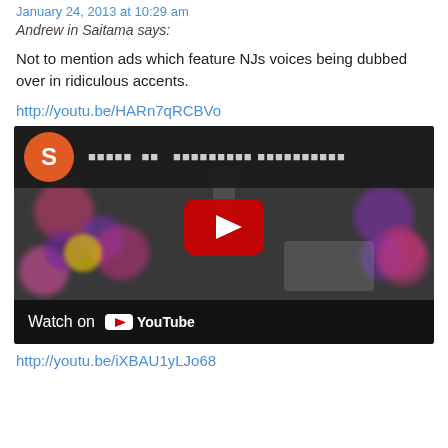January 24, 2013 at 10:29 am
Andrew in Saitama says:
Not to mention ads which feature NJs voices being dubbed over in ridiculous accents.
http://youtu.be/HARn7qRCBVo
[Figure (screenshot): Embedded YouTube video thumbnail showing a dark office scene viewed from above with colorful flowers, a red YouTube play button in the center, a channel avatar circle with 'S' and Japanese text in the top bar, and a 'Watch on YouTube' bar at the bottom.]
http://youtu.be/iXBAU1yLJo68